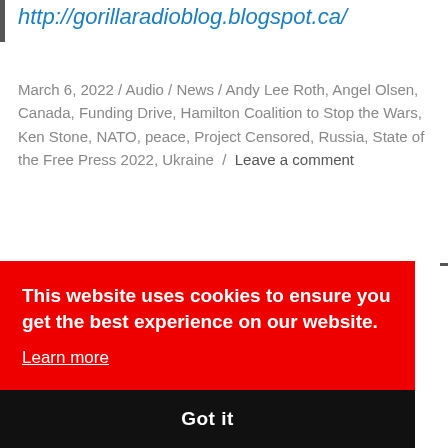http://gorillaradioblog.blogspot.ca/
March 6, 2022 / Audio / News / Andy Lee Roth, Angel Olsen, Canada, Funding Drive, Hamilton Coalition to Stop the Wars, Ken Stone, NATO, peace, Project Censored, Russia, State of the Free Press 2022, Ukraine / Leave a comment
This website uses cookies to ensure you get the best experience on our website. Learn more
Got it